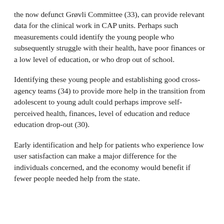the now defunct Grøvli Committee (33), can provide relevant data for the clinical work in CAP units. Perhaps such measurements could identify the young people who subsequently struggle with their health, have poor finances or a low level of education, or who drop out of school.
Identifying these young people and establishing good cross-agency teams (34) to provide more help in the transition from adolescent to young adult could perhaps improve self-perceived health, finances, level of education and reduce education drop-out (30).
Early identification and help for patients who experience low user satisfaction can make a major difference for the individuals concerned, and the economy would benefit if fewer people needed help from the state.